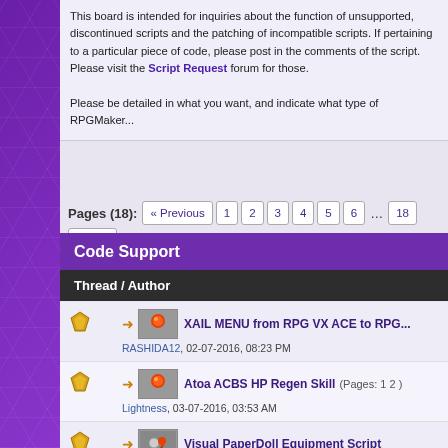This board is intended for inquiries about the function of unsupported, discontinued scripts and the patching of incompatible scripts. If pertaining to a particular piece of code, please post in the comments of the script. Please visit the Script Request forum for those.

Please be detailed in what you want, and indicate what type of RPGMaker...
Pages (18): « Previous 1 2 3 4 5 6 ... 18 Next »
Code Support
| Thread / Author |
| --- |
| XAIL MENU from RPG VX ACE to RPG... | RASHIDA12, 02-07-2016, 08:23 PM |
| Atoa ACBS HP Regen Skill (Pages: 1 2 ) | Lightness, 03-07-2016, 03:53 AM |
| Visual PaperDoll Equipment Script | JayRay, 02-16-2016, 03:44 AM |
| [XP]Alternative Attack Algorithms by... | Geminil, 02-06-2016, 07:56 PM |
| Atoa Custom Battle System: Popup w... | Noctis, 01-06-2016, 11:47 PM |